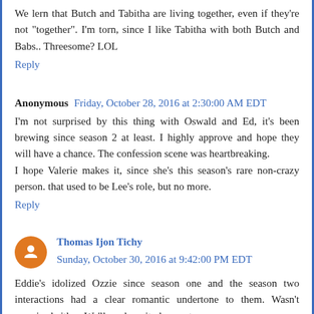We lern that Butch and Tabitha are living together, even if they're not "together". I'm torn, since I like Tabitha with both Butch and Babs.. Threesome? LOL
Reply
Anonymous   Friday, October 28, 2016 at 2:30:00 AM EDT
I'm not surprised by this thing with Oswald and Ed, it's been brewing since season 2 at least. I highly approve and hope they will have a chance. The confession scene was heartbreaking.
I hope Valerie makes it, since she's this season's rare non-crazy person. that used to be Lee's role, but no more.
Reply
Thomas Ijon Tichy   Sunday, October 30, 2016 at 9:42:00 PM EDT
Eddie's idolized Ozzie since season one and the season two interactions had a clear romantic undertone to them. Wasn't surprised either. We'll see how it plays out.
Reply